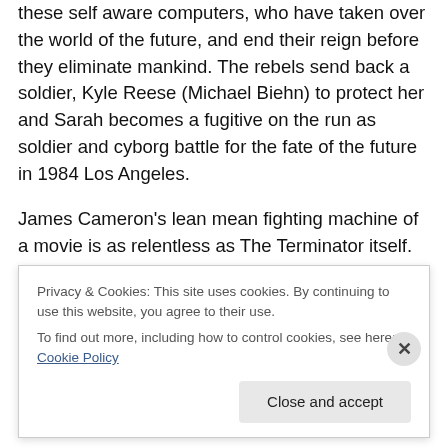these self aware computers, who have taken over the world of the future, and end their reign before they eliminate mankind. The rebels send back a soldier, Kyle Reese (Michael Biehn) to protect her and Sarah becomes a fugitive on the run as soldier and cyborg battle for the fate of the future in 1984 Los Angeles.
James Cameron's lean mean fighting machine of a movie is as relentless as The Terminator itself. He crafts a fast paced action classic that never stops moving yet, still tells a good story and builds the characters so we are emotionally invested in them. He gets great work from his
Privacy & Cookies: This site uses cookies. By continuing to use this website, you agree to their use.
To find out more, including how to control cookies, see here: Cookie Policy